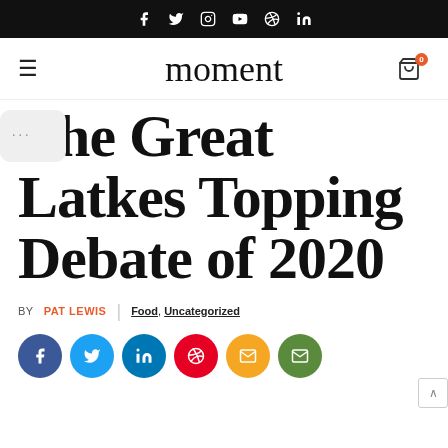f  twitter  instagram  youtube  pinterest  in
moment
The Great Latkes Topping Debate of 2020
BY PAT LEWIS | Food, Uncategorized